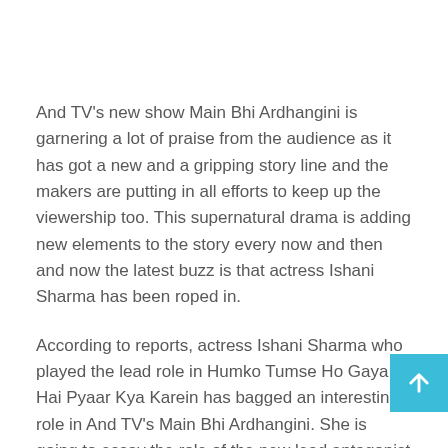And TV's new show Main Bhi Ardhangini is garnering a lot of praise from the audience as it has got a new and a gripping story line and the makers are putting in all efforts to keep up the viewership too. This supernatural drama is adding new elements to the story every now and then and now the latest buzz is that actress Ishani Sharma has been roped in.
According to reports, actress Ishani Sharma who played the lead role in Humko Tumse Ho Gaya Hai Pyaar Kya Karein has bagged an interesting role in And TV's Main Bhi Ardhangini. She is going to essay the role of the new lead antagonist on the show.